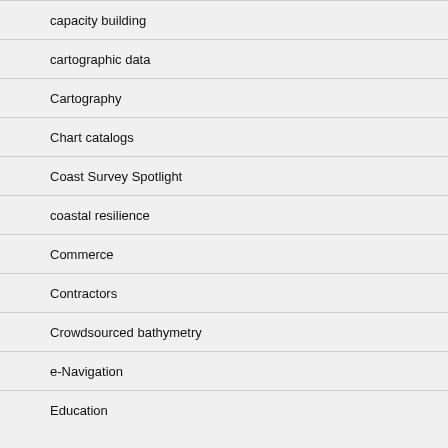capacity building
cartographic data
Cartography
Chart catalogs
Coast Survey Spotlight
coastal resilience
Commerce
Contractors
Crowdsourced bathymetry
e-Navigation
Education